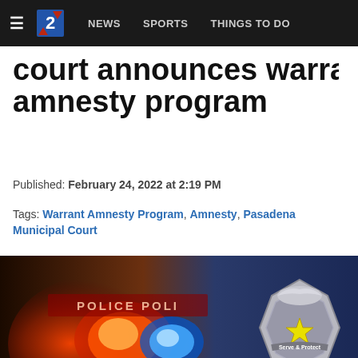NEWS   SPORTS   THINGS TO DO
court announces warrant amnesty program
Published: February 24, 2022 at 2:19 PM
Tags: Warrant Amnesty Program, Amnesty, Pasadena Municipal Court
[Figure (photo): Police themed image showing red and blue emergency lights on the left and a silver police badge reading 'Serve & Protect' with a star in the center on the right against a blue background, with 'Police' text visible on the badge.]